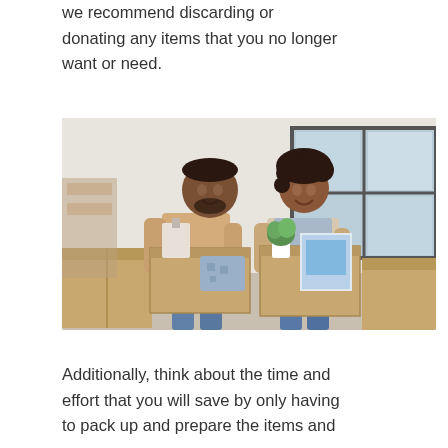we recommend discarding or donating any items that you no longer want or need.
[Figure (photo): A smiling couple standing among cardboard moving boxes. The man on the left is holding a large open cardboard box with a lamp and patterned pillow inside. The woman on the right is holding a cardboard box containing a small potted plant and a framed picture. They are in a bright room with large windows in the background.]
Additionally, think about the time and effort that you will save by only having to pack up and prepare the items and